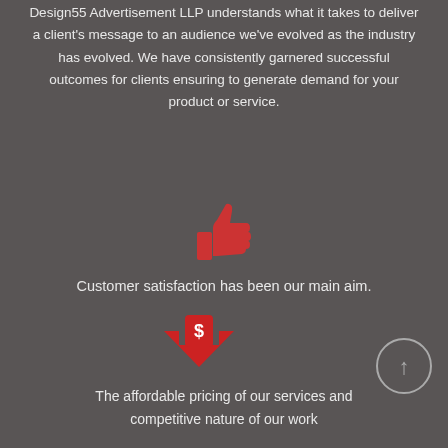Design55 Advertisement LLP understands what it takes to deliver a client's message to an audience we've evolved as the industry has evolved. We have consistently garnered successful outcomes for clients ensuring to generate demand for your product or service.
[Figure (illustration): Red thumbs up icon]
Customer satisfaction has been our main aim.
[Figure (illustration): Red downward arrow with dollar sign icon]
The affordable pricing of our services and competitive nature of our work
[Figure (illustration): Circle with upward arrow button, bottom right corner]